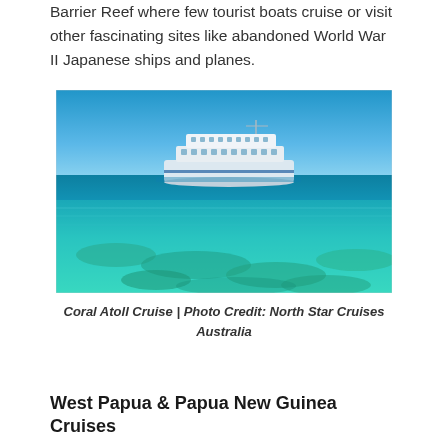Barrier Reef where few tourist boats cruise or visit other fascinating sites like abandoned World War II Japanese ships and planes.
[Figure (photo): A large white cruise ferry/ship on calm turquoise-blue ocean water with clear blue sky above. The shallow tropical water is clear enough to see coral and reef formations beneath the surface.]
Coral Atoll Cruise | Photo Credit: North Star Cruises Australia
West Papua & Papua New Guinea Cruises